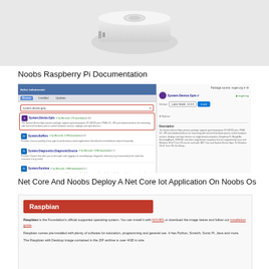[Figure (photo): Rendered image of a small network device or single-board computer hardware, shown in grayscale perspective view]
Noobs Raspberry Pi Documentation
[Figure (screenshot): NuGet Package Manager screenshot showing System.Device.Gpio package selected, with package list on the left including System.Buffers, System.Diagnostics.DiagnosticSource, System.Runtime, and package details on the right with Install button]
Net Core And Noobs Deploy A Net Core Iot Application On Noobs Os
[Figure (screenshot): Screenshot of Raspbian operating system page showing the Raspbian header in red, with description text about it being the Foundation's official supported operating system, installable with NOOBS, pre-installed with Python, Scratch, Sonic Pi, Java and more]